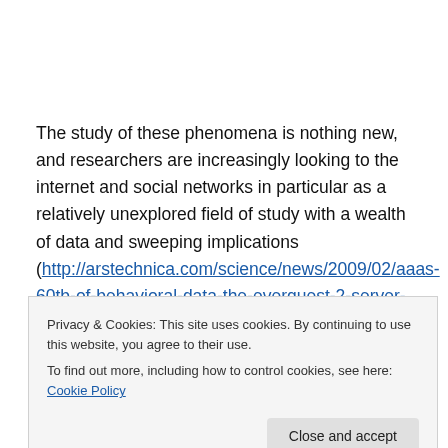The study of these phenomena is nothing new, and researchers are increasingly looking to the internet and social networks in particular as a relatively unexplored field of study with a wealth of data and sweeping implications (http://arstechnica.com/science/news/2009/02/aaas-60tb-of-behavioral-data-the-everquest-2-server-logs-are)
Privacy & Cookies: This site uses cookies. By continuing to use this website, you agree to their use. To find out more, including how to control cookies, see here: Cookie Policy
Close and accept